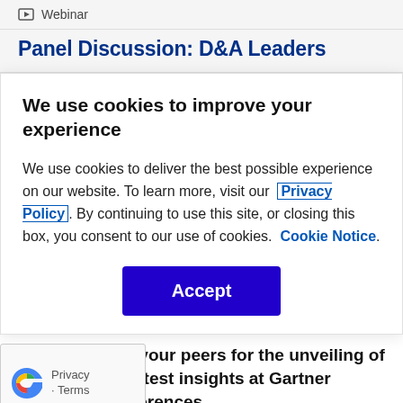Webinar
Panel Discussion: D&A Leaders
We use cookies to improve your experience
We use cookies to deliver the best possible experience on our website. To learn more, visit our Privacy Policy. By continuing to use this site, or closing this box, you consent to our use of cookies. Cookie Notice.
Accept
Join your peers for the unveiling of the latest insights at Gartner Conferences.